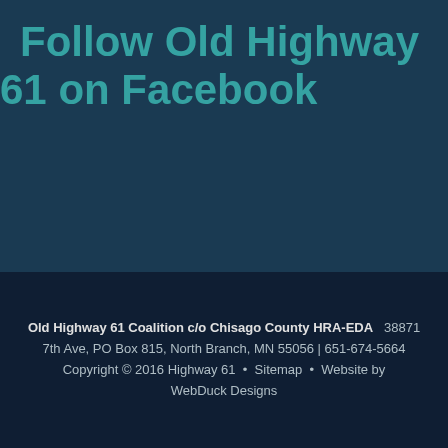Follow Old Highway 61 on Facebook
Old Highway 61 Coalition c/o Chisago County HRA-EDA   38871 7th Ave, PO Box 815, North Branch, MN 55056 | 651-674-5664 Copyright © 2016 Highway 61  •  Sitemap  •  Website by WebDuck Designs